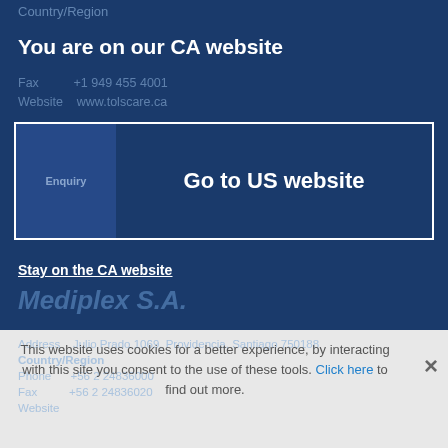Country/Region
You are on our CA website
Fax  +1 949 455 4001
Website  www.tolscare.ca
Go to US website
Stay on the CA website
Mediplex S.A.
Address  Julio Prado 1069, Providencia, Santiago 750188
Country/Region
Phone  +56 2 24836000
Fax  +56 2 24836020
Website
This website uses cookies for a better experience, by interacting with this site you consent to the use of these tools. Click here to find out more.